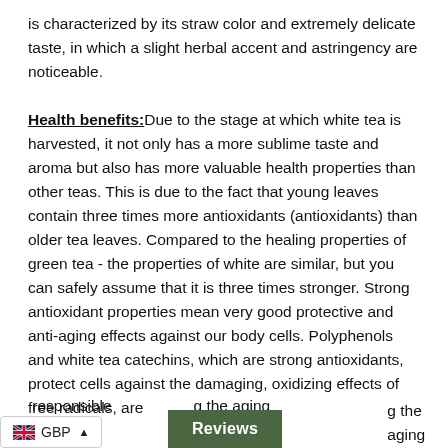is characterized by its straw color and extremely delicate taste, in which a slight herbal accent and astringency are noticeable.
Health benefits: Due to the stage at which white tea is harvested, it not only has a more sublime taste and aroma but also has more valuable health properties than other teas. This is due to the fact that young leaves contain three times more antioxidants (antioxidants) than older tea leaves. Compared to the healing properties of green tea - the properties of white are similar, but you can safely assume that it is three times stronger. Strong antioxidant properties mean very good protective and anti-aging effects against our body cells. Polyphenols and white tea catechins, which are strong antioxidants, protect cells against the damaging, oxidizing effects of free radicals, are responsible [for] the aging